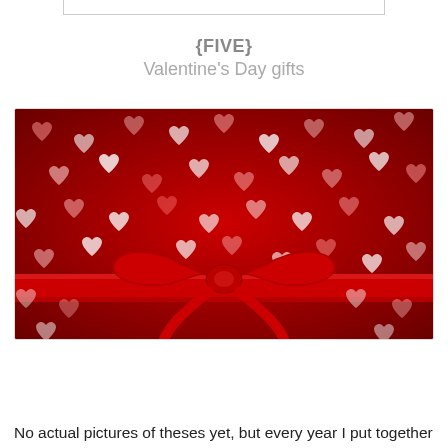[Figure (other): Bottom edge of a bordered box, appearing at top of page]
{FIVE}
Valentine's Day gifts
[Figure (photo): Close-up photo of red bokeh heart shapes with a red satin ribbon and bow in the lower center portion of the image]
No actual pictures of theses yet, but every year I put together